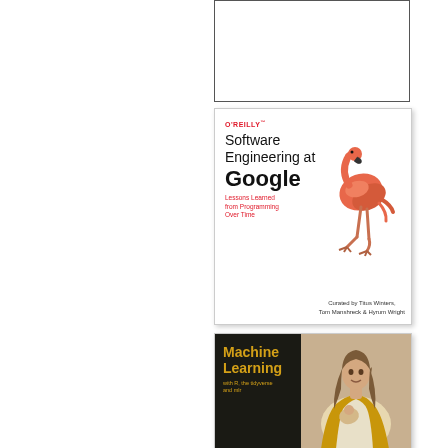[Figure (other): Blank white box with thin border, partially visible at top]
[Figure (illustration): O'Reilly book cover: 'Software Engineering at Google – Lessons Learned from Programming Over Time', curated by Titus Winters, Tom Manshreck & Hyrum Wright. Features a flamingo illustration on a white background.]
[Figure (illustration): O'Reilly 'Machine Learning with R, the tidyverse, and mlr' book cover featuring a historical portrait figure on a dark/tan background with gold title text.]